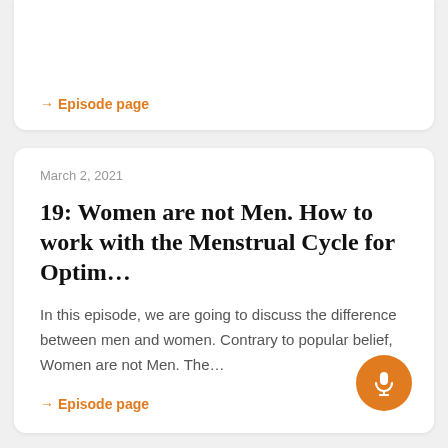→ Episode page
March 2, 2021
19: Women are not Men. How to work with the Menstrual Cycle for Optim…
In this episode, we are going to discuss the difference between men and women. Contrary to popular belief, Women are not Men. The…
→ Episode page